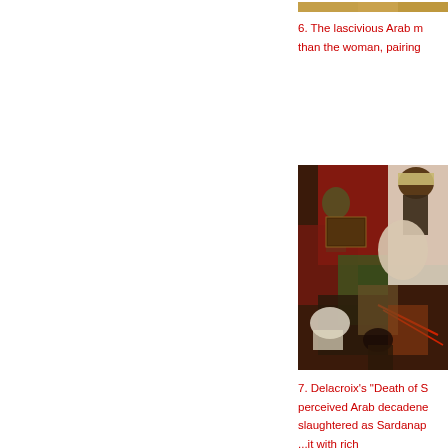[Figure (photo): Top strip of a painting, partially visible, warm golden/orange tones]
6. The lascivious Arab m... than the woman, pairing
[Figure (photo): Delacroix painting 'Death of Sardanapalus' showing turbaned king on red bed, figures with swords, horses, and women in dramatic scene with rich colors]
7. Delacroix's "Death of S... perceived Arab decadene... slaughtered as Sardanap... ...it with rich...